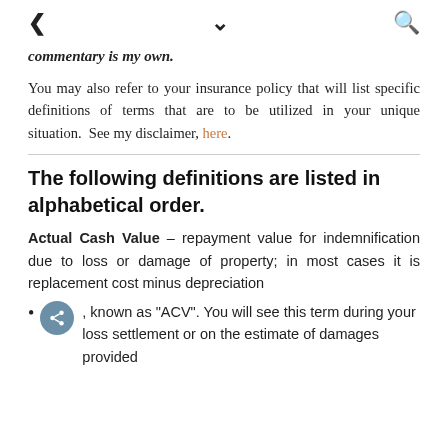< ∨ 🔍
commentary is my own.
You may also refer to your insurance policy that will list specific definitions of terms that are to be utilized in your unique situation.  See my disclaimer, here.
The following definitions are listed in alphabetical order.
Actual Cash Value – repayment value for indemnification due to loss or damage of property; in most cases it is replacement cost minus depreciation
, known as "ACV". You will see this term during your loss settlement or on the estimate of damages provided by the adjuster.